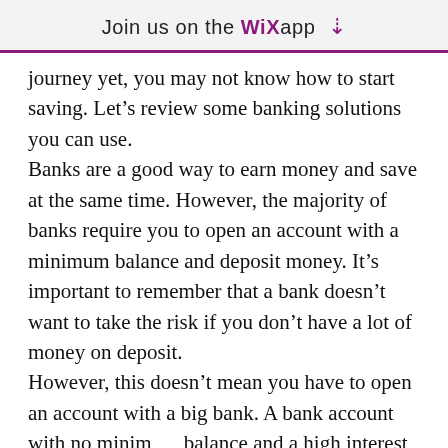Join us on the WiX app ⬇
journey yet, you may not know how to start saving. Let&rsquo;s review some banking solutions you can use. Banks are a good way to earn money and save at the same time. However, the majority of banks require you to open an account with a minimum balance and deposit money. It&rsquo;s important to remember that a bank doesn&rsquo;t want to take the risk if you don&rsquo;t have a lot of money on deposit. However, this doesn&rsquo;t mean you have to open an account with a big bank. A bank account with no minimum balance and a high interest rate can be a great way to save money. If you can